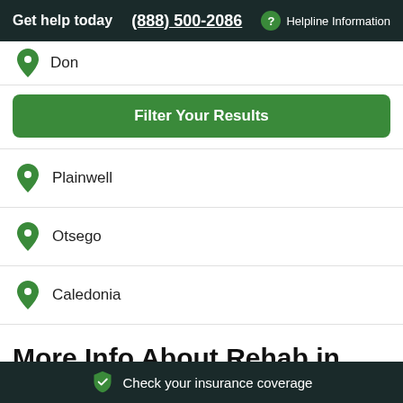Get help today | (888) 500-2086 | Helpline Information
Don
Filter Your Results
Plainwell
Otsego
Caledonia
More Info About Rehab in Bradley
Check your insurance coverage